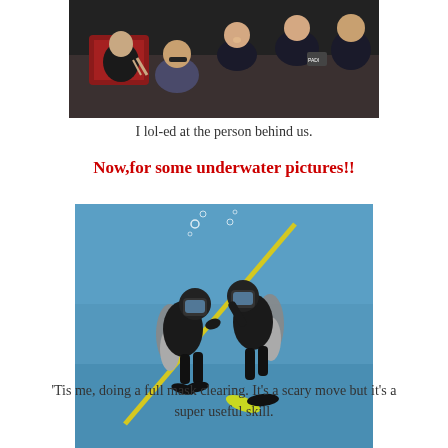[Figure (photo): Group photo of people in black uniforms smiling and posing, one person in the background.]
I lol-ed at the person behind us.
Now,for some underwater pictures!!
[Figure (photo): Two scuba divers underwater holding a yellow rope/pole, wearing full diving gear with tanks, doing a mask clearing exercise in blue water.]
'Tis me, doing a full mask clearing. It's a scary move but it's a super useful skill.